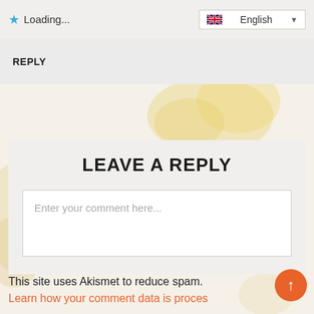Loading...  English
REPLY
LEAVE A REPLY
Enter your comment here...
This site uses Akismet to reduce spam.
Learn how your comment data is processed.